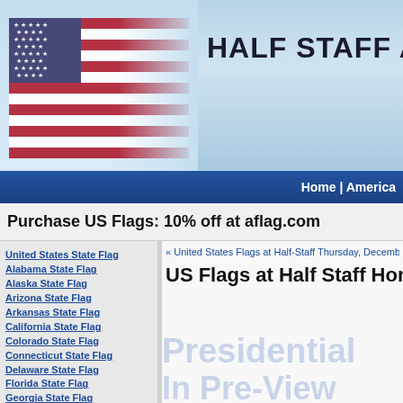[Figure (illustration): US flag waving against light blue sky background, left portion of header]
HALF STAFF AM
Home | America
Purchase US Flags: 10% off at aflag.com
United States State Flag
Alabama State Flag
Alaska State Flag
Arizona State Flag
Arkansas State Flag
California State Flag
Colorado State Flag
Connecticut State Flag
Delaware State Flag
Florida State Flag
Georgia State Flag
Hawaii State Flag
Idaho State Flag
Illinois State Flag
Indiana State Flag
Iowa State Flag
Kansas State Flag
Kentucky State Flag
Louisiana State Flag
« United States Flags at Half-Staff Thursday, December
US Flags at Half Staff Honoring
Presidential
In Pre-View